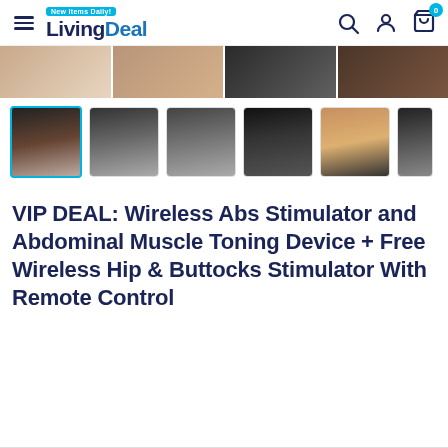LivingDeal — New Items Daily!
[Figure (photo): Top cropped product image strip showing fitness device worn on body, four segments]
[Figure (photo): Thumbnail gallery row: 6 product photos of wireless abs stimulator and hip/buttocks stimulator. First thumbnail is selected with a teal border.]
VIP DEAL: Wireless Abs Stimulator and Abdominal Muscle Toning Device + Free Wireless Hip & Buttocks Stimulator With Remote Control